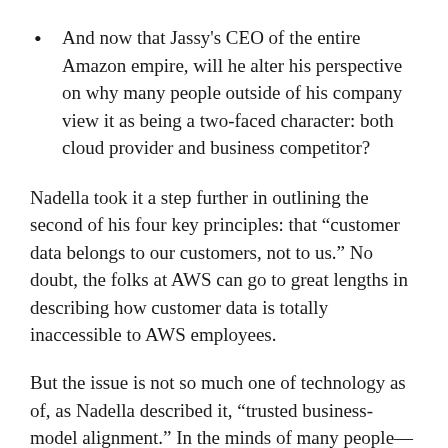And now that Jassy's CEO of the entire Amazon empire, will he alter his perspective on why many people outside of his company view it as being a two-faced character: both cloud provider and business competitor?
Nadella took it a step further in outlining the second of his four key principles: that “customer data belongs to our customers, not to us.” No doubt, the folks at AWS can go to great lengths in describing how customer data is totally inaccessible to AWS employees.
But the issue is not so much one of technology as of, as Nadella described it, “trusted business-model alignment.” In the minds of many people—perhaps most people—the linkage between AWS and Amazon is so tight that